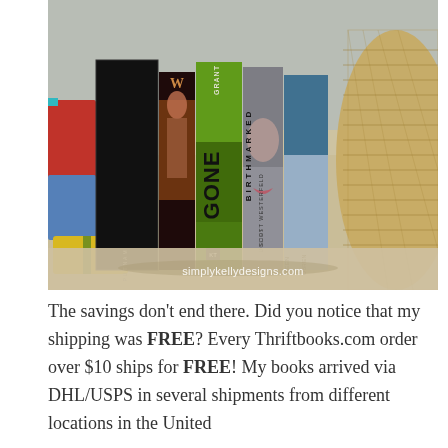[Figure (photo): Photo of several books standing upright in sand on a beach, including 'The 5 Wave', 'Gone' by Grant, a Scott Westerfeld book, and 'Birthmarked', with a straw hat and colorful beach towels visible. Watermark reads simplykelldesigns.com]
The savings don't end there. Did you notice that my shipping was FREE? Every Thriftbooks.com order over $10 ships for FREE! My books arrived via DHL/USPS in several shipments from different locations in the United